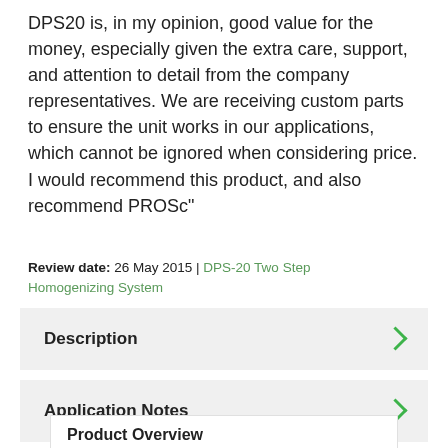DPS20 is, in my opinion, good value for the money, especially given the extra care, support, and attention to detail from the company representatives. We are receiving custom parts to ensure the unit works in our applications, which cannot be ignored when considering price. I would recommend this product, and also recommend PROSc"
Review date: 26 May 2015 | DPS-20 Two Step Homogenizing System
Description
Application Notes
Product Overview